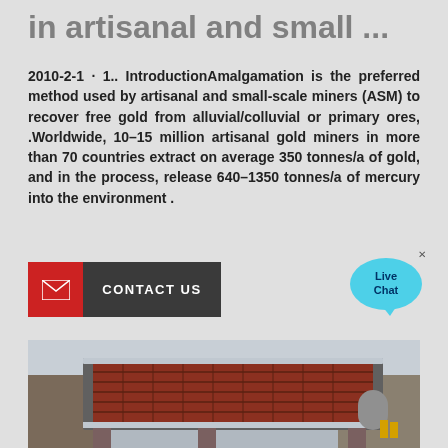in artisanal and small ...
2010-2-1 · 1.. IntroductionAmalgamation is the preferred method used by artisanal and small-scale miners (ASM) to recover free gold from alluvial/colluvial or primary ores, .Worldwide, 10–15 million artisanal gold miners in more than 70 countries extract on average 350 tonnes/a of gold, and in the process, release 640–1350 tonnes/a of mercury into the environment .
[Figure (other): Contact Us button with red envelope icon and dark grey label]
[Figure (other): Live Chat speech bubble widget in blue]
[Figure (photo): Industrial warehouse photo showing a large metal grid/screen structure (vibrating screen equipment) with red painted grid panels and steel frame, inside a factory with overhead cranes visible in background]